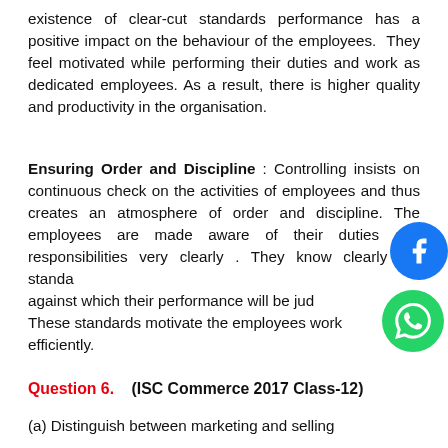existence of clear-cut standards performance has a positive impact on the behaviour of the employees. They feel motivated while performing their duties and work as dedicated employees. As a result, there is higher quality and productivity in the organisation.
Ensuring Order and Discipline : Controlling insists on continuous check on the activities of employees and thus creates an atmosphere of order and discipline. The employees are made aware of their duties and responsibilities very clearly . They know clearly the standards against which their performance will be judged. These standards motivate the employees work efficiently.
Question 6.    (ISC Commerce 2017 Class-12)
(a) Distinguish between marketing and selling